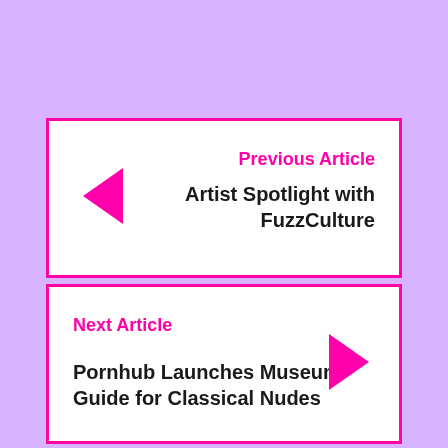Previous Article
Artist Spotlight with FuzzCulture
Next Article
Pornhub Launches Museum Guide for Classical Nudes